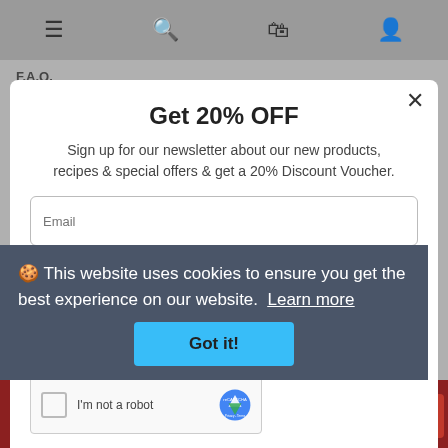Navigation bar with menu, search, cart, and account icons
F.A.Q.
Terms & Conditions
Delivery Policy
Privacy Policy
Refund Policy
Home
Store locator
Contact Us
Get 20% OFF
Sign up for our newsletter about our new products, recipes & special offers & get a 20% Discount Voucher.
Email
Phone
Name
I'm not a robot
This website uses cookies to ensure you get the best experience on our website.  Learn more
Got it!